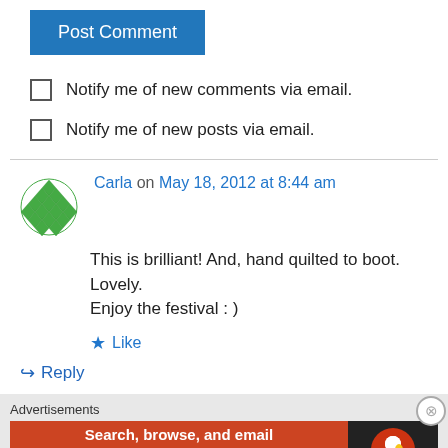Post Comment
Notify me of new comments via email.
Notify me of new posts via email.
Carla on May 18, 2012 at 8:44 am
This is brilliant! And, hand quilted to boot. Lovely. Enjoy the festival : )
Like
Reply
Advertisements
[Figure (screenshot): DuckDuckGo advertisement banner: Search, browse, and email with more privacy. All in One Free App.]